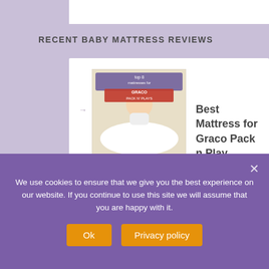RECENT BABY MATTRESS REVIEWS
[Figure (photo): Baby sitting on white surface, with text overlay 'top 8 mattresses for Graco Pack n Plays']
Best Mattress for Graco Pack n Play
[Figure (photo): Two Nook Sleep Pebble Pure Organic Crib Mattresses standing upright showing colorful layered construction]
Nook Sleep Pebble Pure Organic Crib Mattress
We use cookies to ensure that we give you the best experience on our website. If you continue to use this site we will assume that you are happy with it.